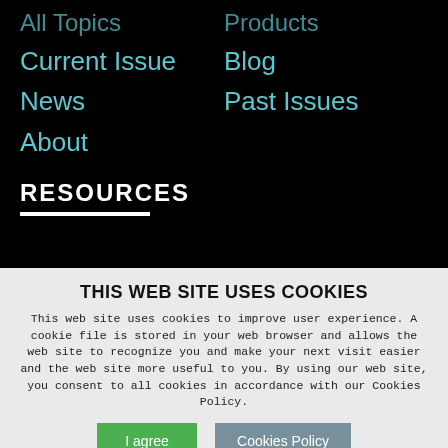All Topics
Products
Current Issue
Blog
News
Past Issues
About
RESOURCES
THIS WEB SITE USES COOKIES
This web site uses cookies to improve user experience. A cookie file is stored in your web browser and allows the web site to recognize you and make your next visit easier and the web site more useful to you. By using our web site, you consent to all cookies in accordance with our Cookies Policy.
I agree
Cookies Policy